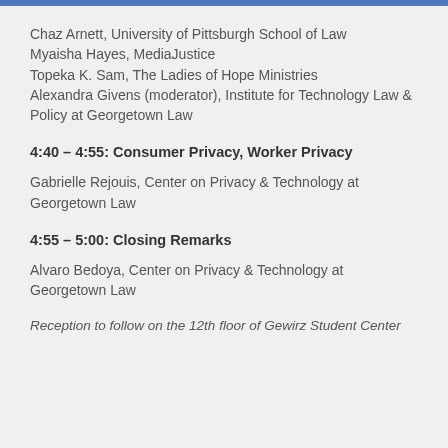Chaz Arnett, University of Pittsburgh School of Law
Myaisha Hayes, MediaJustice
Topeka K. Sam, The Ladies of Hope Ministries
Alexandra Givens (moderator), Institute for Technology Law & Policy at Georgetown Law
4:40 – 4:55: Consumer Privacy, Worker Privacy
Gabrielle Rejouis, Center on Privacy & Technology at Georgetown Law
4:55 – 5:00: Closing Remarks
Alvaro Bedoya, Center on Privacy & Technology at Georgetown Law
Reception to follow on the 12th floor of Gewirz Student Center